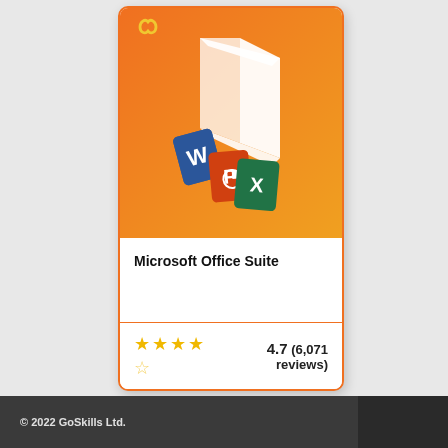[Figure (illustration): Microsoft Office Suite product card with orange gradient background showing the Microsoft Office logo (white angular shape) and icons for Word, PowerPoint, and Excel apps at the bottom. GoSkills infinity logo in gold at top left corner.]
Microsoft Office Suite
4.7 (6,071 reviews)
© 2022 GoSkills Ltd.